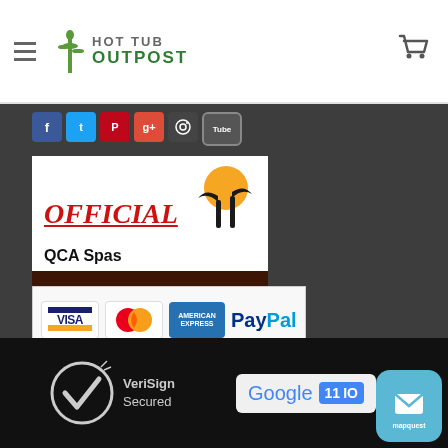Hot Tub Outpost — navigation header with logo and cart icon
[Figure (other): Social media icons: Facebook, Twitter, Pinterest, Google+, Instagram, YouTube]
[Figure (other): OFFICIAL QCA Spas DISTRIBUTOR badge with sun and palm tree graphic]
[Figure (other): SECURE ORDERING 100% PRIVACY PROTECTED badge with padlock]
[Figure (other): Payment icons: Visa, MasterCard, American Express, PayPal]
[Figure (other): VeriSign Secured badge]
[Figure (other): Google IO logo badge]
[Figure (other): MapQuest app icon button]